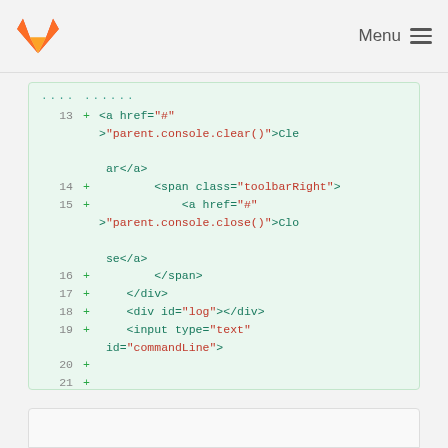GitLab — Menu
[Figure (screenshot): Code diff view showing HTML code lines 13-23 with green added lines (+), line numbers, and syntax highlighting on a light green background. Lines show HTML elements including anchor tags, span, div, input, script tags.]